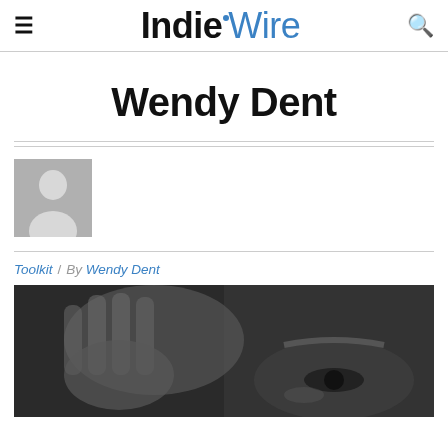IndieWire
Wendy Dent
[Figure (illustration): Generic user avatar placeholder – grey square with white silhouette of a person]
Toolkit / By Wendy Dent
[Figure (photo): Black and white close-up photograph of a person's hand and eye]